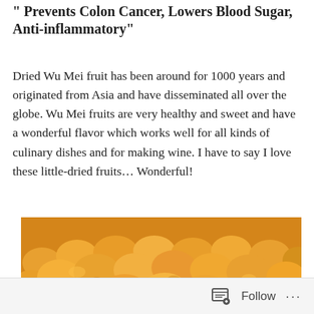" Prevents Colon Cancer, Lowers Blood Sugar, Anti-inflammatory"
Dried Wu Mei fruit has been around for 1000 years and originated from Asia and have disseminated all over the globe. Wu Mei fruits are very healthy and sweet and have a wonderful flavor which works well for all kinds of culinary dishes and for making wine. I have to say I love these little-dried fruits… Wonderful!
[Figure (photo): Close-up photo of a large pile of dried Wu Mei fruits, which are small, golden-orange colored dried fruits with a wrinkled, bumpy texture.]
Follow ···